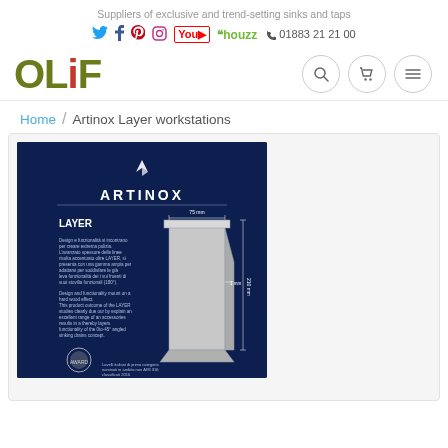Suppliers of exclusive and trend-setting sinks and taps
Social icons: Twitter, Facebook, Pinterest, Instagram, YouTube, Houzz | 01883 21 21 00
[Figure (logo): OLIF logo in olive green with red dot on letter i, with search, cart, and menu navigation icons]
Home / Artinox Layer workstations
[Figure (illustration): Artinox LAYER product brochure page on dark navy background showing a stainless steel sink workstation schematic with dimensions 75mm width and 210mm height, with Italian and English descriptive text and award medal graphic]